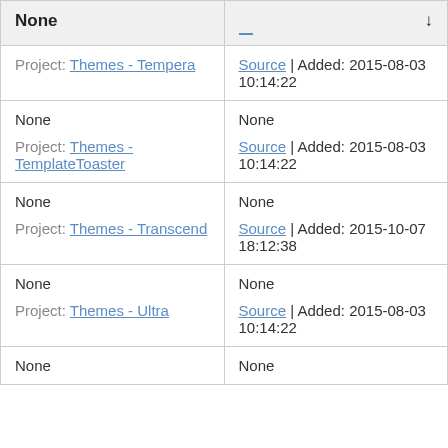| None | ↓ |
| --- | --- |
| Project: Themes - Tempera | Source | Added: 2015-08-03 10:14:22 |
| None
Project: Themes - TemplateToaster | None
Source | Added: 2015-08-03 10:14:22 |
| None
Project: Themes - Transcend | None
Source | Added: 2015-10-07 18:12:38 |
| None
Project: Themes - Ultra | None
Source | Added: 2015-08-03 10:14:22 |
| None | None |